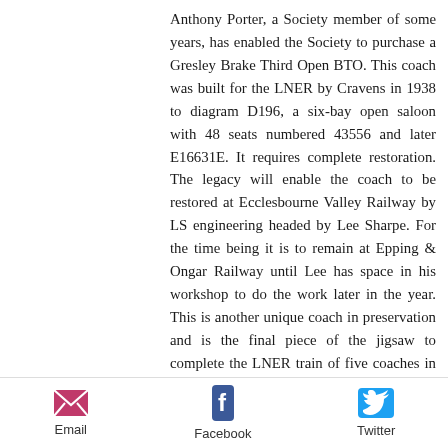Anthony Porter, a Society member of some years, has enabled the Society to purchase a Gresley Brake Third Open BTO. This coach was built for the LNER by Cravens in 1938 to diagram D196, a six-bay open saloon with 48 seats numbered 43556 and later E16631E. It requires complete restoration. The legacy will enable the coach to be restored at Ecclesbourne Valley Railway by LS engineering headed by Lee Sharpe. For the time being it is to remain at Epping & Ongar Railway until Lee has space in his workshop to do the work later in the year. This is another unique coach in preservation and is the final piece of the jigsaw to complete the LNER train of five coaches in crimson and cream. The other two coaches for the train, the TTO and the TK, still awaiting restoration, will hopefully benefit from being fast-tracked by outside contractors in the future. Obviously, to achieve this we require some large donations or legacies.
Email  Facebook  Twitter